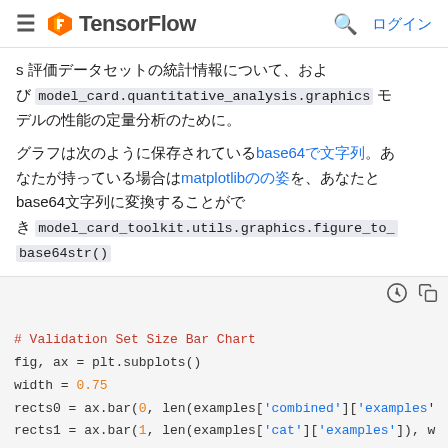≡ TensorFlow 🔍 ログイン
s 評価データセットの統計情報について、および model_card.quantitative_analysis.graphics モデルの性能の定量分析のために。
グラフは次のように保存されているbase64で文字列。あなたが持っている場合はmatplotlibのの姿を、あなたとbase64文字列に変換することができ model_card_toolkit.utils.graphics.figure_to_base64str()
[Figure (screenshot): Code block with Python code for Validation Set Size Bar Chart using matplotlib]
# Validation Set Size Bar Chart
fig, ax = plt.subplots()
width = 0.75
rects0 = ax.bar(0, len(examples['combined']['examples'
rects1 = ax.bar(1, len(examples['cat']['examples']), w
rects2 = ax.bar(2, len(examples['dog']['examples']), w
ax.set_xticks(np.arange(3))
ax.set_xticklabels(['Overall', 'Cat', 'Dog'])